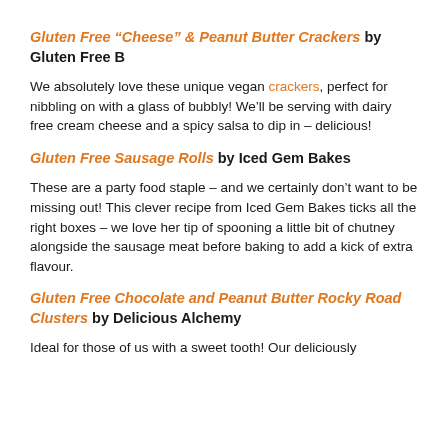Gluten Free “Cheese” & Peanut Butter Crackers by Gluten Free B
We absolutely love these unique vegan crackers, perfect for nibbling on with a glass of bubbly! We’ll be serving with dairy free cream cheese and a spicy salsa to dip in – delicious!
Gluten Free Sausage Rolls by Iced Gem Bakes
These are a party food staple – and we certainly don’t want to be missing out! This clever recipe from Iced Gem Bakes ticks all the right boxes – we love her tip of spooning a little bit of chutney alongside the sausage meat before baking to add a kick of extra flavour.
Gluten Free Chocolate and Peanut Butter Rocky Road Clusters by Delicious Alchemy
Ideal for those of us with a sweet tooth! Our deliciously